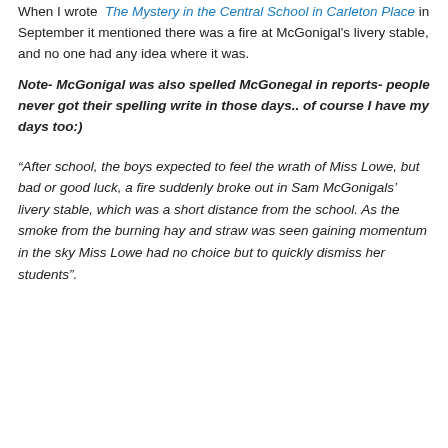When I wrote  The Mystery in the Central School in Carleton Place  in September it mentioned there was a fire at McGonigal's livery stable, and no one had any idea where it was.
Note- McGonigal was also spelled McGonegal in reports- people never got their spelling write in those days.. of course I have my days too:)
“After school, the boys expected to feel the wrath of Miss Lowe, but bad or good luck, a fire suddenly broke out in Sam McGonigals’ livery stable, which was a short distance from the school. As the smoke from the burning hay and straw was seen gaining momentum in the sky Miss Lowe had no choice but to quickly dismiss her students”.